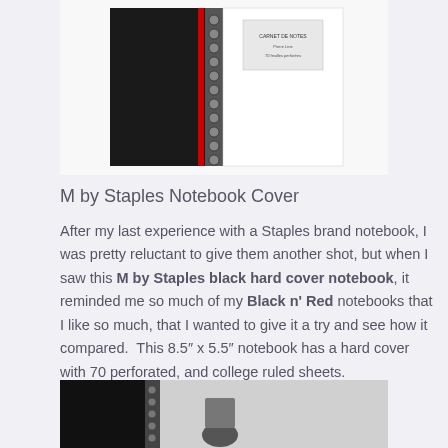[Figure (photo): Top portion of a black spiral-bound hard cover notebook (M by Staples) with a white label area visible, shown on a white background.]
M by Staples Notebook Cover
After my last experience with a Staples brand notebook, I was pretty reluctant to give them another shot, but when I saw this M by Staples black hard cover notebook, it reminded me so much of my Black n’ Red notebooks that I like so much, that I wanted to give it a try and see how it compared.  This 8.5″ x 5.5″ notebook has a hard cover with 70 perforated, and college ruled sheets.
[Figure (photo): Bottom partial view of the same black spiral-bound hard cover notebook lying open, showing the spine and part of the cover on a gray background.]